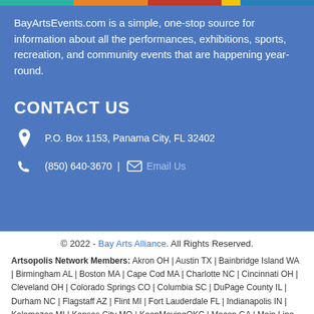BayArtsEvents.com is a simple, one-stop source for information about all the performances, exhibitions, sports, recreation, and community events that are happening year-round.
CONTACT US
P.O. Box 1153, Panama City, FL 32402
(850) 640-3670  |  Email Us
© 2022 - Bay Arts Alliance. All Rights Reserved.
Artsopolis Network Members: Akron OH | Austin TX | Bainbridge Island WA | Birmingham AL | Boston MA | Cape Cod MA | Charlotte NC | Cincinnati OH | Cleveland OH | Colorado Springs CO | Columbia SC | DuPage County IL | Durham NC | Flagstaff AZ | Flint MI | Fort Lauderdale FL | Indianapolis IN | Kalamazoo MI | Kansas City MO | KeepMovingOKC | Macon GA | Main Line Area PA | Marin County CA | Marquette County MI | Mendocino County CA | Middlesex County NJ | Milwaukee WI |